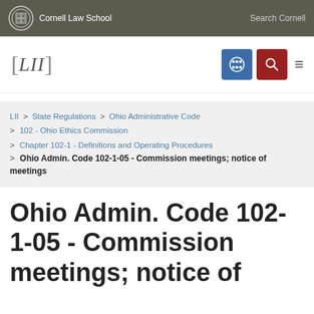Cornell Law School | Search Cornell
[Figure (logo): LII Legal Information Institute logo with navigation icons]
LII > State Regulations > Ohio Administrative Code > 102 - Ohio Ethics Commission > Chapter 102-1 - Definitions and Operating Procedures > Ohio Admin. Code 102-1-05 - Commission meetings; notice of meetings
Ohio Admin. Code 102-1-05 - Commission meetings; notice of